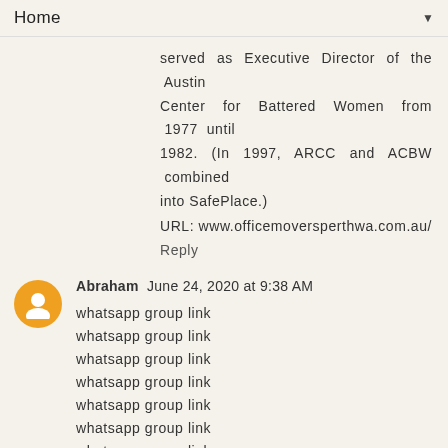Home
served as Executive Director of the Austin Center for Battered Women from 1977 until 1982. (In 1997, ARCC and ACBW combined into SafePlace.)
URL: www.officemoversperthwa.com.au/
Reply
Abraham June 24, 2020 at 9:38 AM
whatsapp group link
whatsapp group link
whatsapp group link
whatsapp group link
whatsapp group link
whatsapp group link
whatsapp group link
Reply